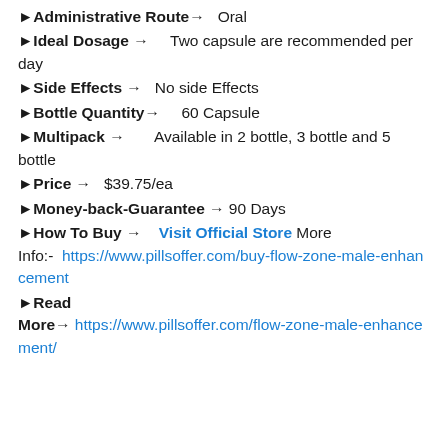►Administrative Route→   Oral
►Ideal Dosage →   Two capsule are recommended per day
►Side Effects →   No side Effects
►Bottle Quantity→   60 Capsule
►Multipack →   Available in 2 bottle, 3 bottle and 5 bottle
►Price →   $39.75/ea
►Money-back-Guarantee →   90 Days
►How To Buy →   Visit Official Store More Info:- https://www.pillsoffer.com/buy-flow-zone-male-enhancement
►Read More→   https://www.pillsoffer.com/flow-zone-male-enhancement/